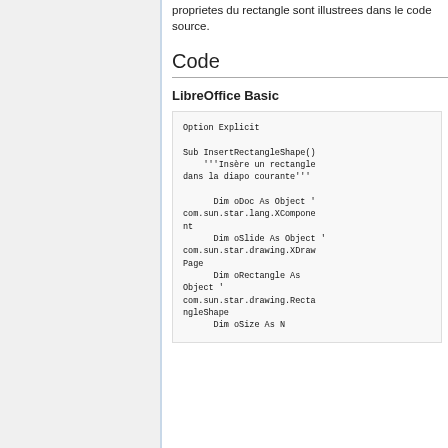proprietes du rectangle sont illustrees dans le code source.
Code
LibreOffice Basic
Option Explicit

Sub InsertRectangleShape()
    '''Insère un rectangle dans la diapo courante'''

      Dim oDoc As Object 'com.sun.star.lang.XComponent
      Dim oSlide As Object 'com.sun.star.drawing.XDrawPage
      Dim oRectangle As Object 'com.sun.star.drawing.RectangleShape
      Dim oSize As N...